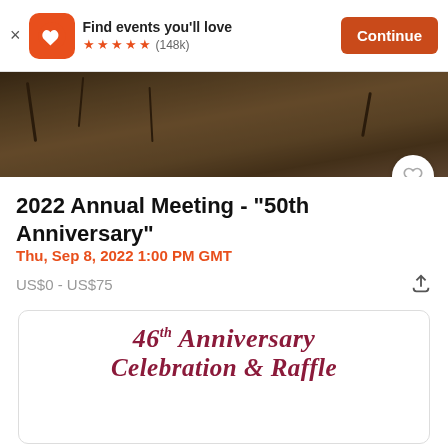Find events you'll love ★★★★★ (148k) Continue
[Figure (photo): Dark landscape photo with bare trees and shrubs, looks like a burned or autumn scene]
2022 Annual Meeting - "50th Anniversary"
Thu, Sep 8, 2022 1:00 PM GMT
US$0 - US$75
[Figure (photo): Promotional card showing script text reading '46th Anniversary Celebration & Raffle' on white background]